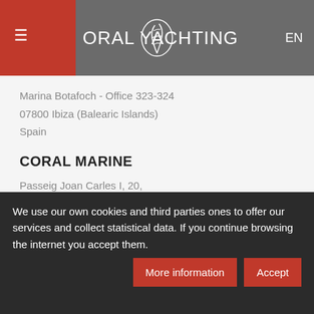ORAL YACHTING  EN
Marina Botafoch - Office 323-324
07800 Ibiza (Balearic Islands)
Spain
CORAL MARINE
Passeig Joan Carles I, 20,
Zona marina seca, 07800
Ibiza (Balearic Islands)
Spain
Tel: +34 971 313 926
We use our own cookies and third parties ones to offer our services and collect statistical data. If you continue browsing the internet you accept them.
More information
Accept